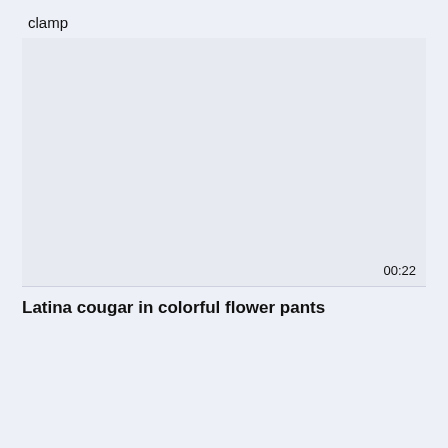clamp
[Figure (screenshot): Video player area with light blue-grey background and timestamp 00:22 in bottom right]
Latina cougar in colorful flower pants